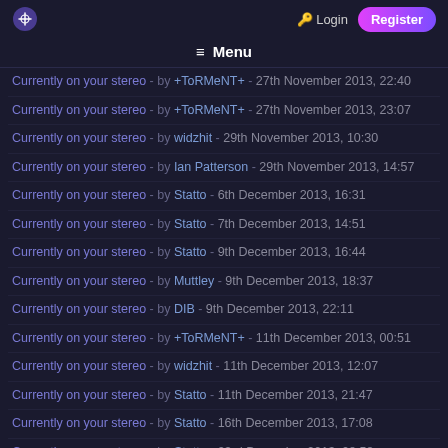Login | Register
≡ Menu
Currently on your stereo - by +ToRMeNT+ - 27th November 2013, 22:40
Currently on your stereo - by +ToRMeNT+ - 27th November 2013, 23:07
Currently on your stereo - by widzhit - 29th November 2013, 10:30
Currently on your stereo - by Ian Patterson - 29th November 2013, 14:57
Currently on your stereo - by Statto - 6th December 2013, 16:31
Currently on your stereo - by Statto - 7th December 2013, 14:51
Currently on your stereo - by Statto - 9th December 2013, 16:44
Currently on your stereo - by Muttley - 9th December 2013, 18:37
Currently on your stereo - by DIB - 9th December 2013, 22:11
Currently on your stereo - by +ToRMeNT+ - 11th December 2013, 00:51
Currently on your stereo - by widzhit - 11th December 2013, 12:07
Currently on your stereo - by Statto - 11th December 2013, 21:47
Currently on your stereo - by Statto - 16th December 2013, 17:08
Currently on your stereo - by Statto - 23rd December 2013, 08:58
Currently on your stereo - by widzhit - 23rd December 2013, 13:00